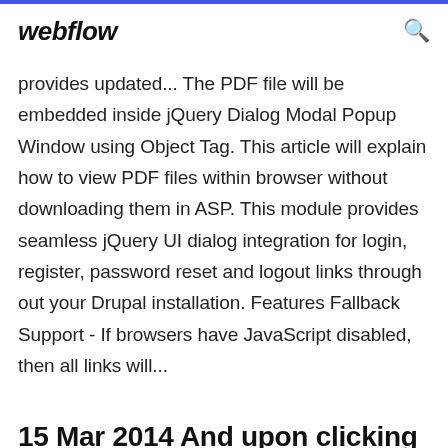webflow
provides updated... The PDF file will be embedded inside jQuery Dialog Modal Popup Window using Object Tag. This article will explain how to view PDF files within browser without downloading them in ASP. This module provides seamless jQuery UI dialog integration for login, register, password reset and logout links through out your Drupal installation. Features Fallback Support - If browsers have JavaScript disabled, then all links will...
15 Mar 2014 And upon clicking on the "Generate" button, I am